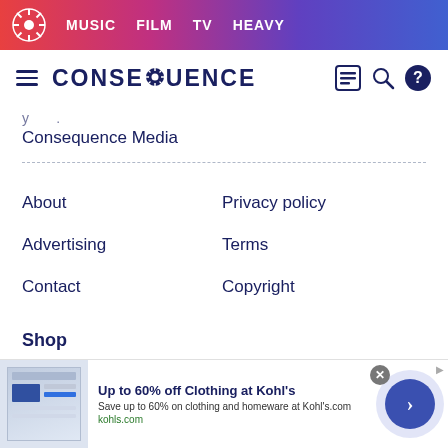MUSIC  FILM  TV  HEAVY
[Figure (logo): Consequence of Sound navigation header with hamburger menu, CONSEQUENCE logo, shop icon, search icon, and help icon]
Consequence Media
About
Privacy policy
Advertising
Terms
Contact
Copyright
Shop
Face Masks
T Shirts
[Figure (screenshot): Advertisement banner: Up to 60% off Clothing at Kohl's. Save up to 60% on clothing and homeware at Kohl's.com. kohls.com]